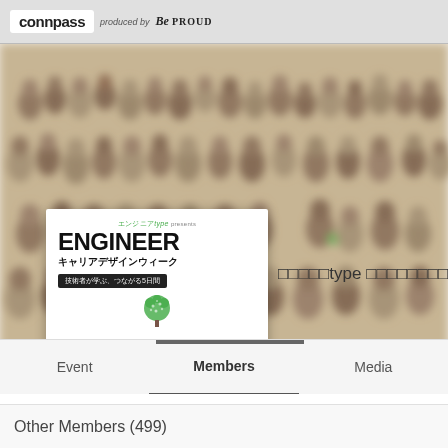connpass produced by Be PROUD
[Figure (screenshot): Connpass event page for エンジニアtype キャリアデザインウィーク with a blurred crowd background photo, a white card overlay showing ENGINEER キャリアデザインウィーク 技術者が学ぶ、つながる5日間 4/13(Tue)-17(Sat), and navigation tabs for Event, Members, Media]
エンジニアtype キャリアデザインウィーク
4/13(Tue)-17(Sat)
□□□□□type □□□□□□□□
Other Members (499)